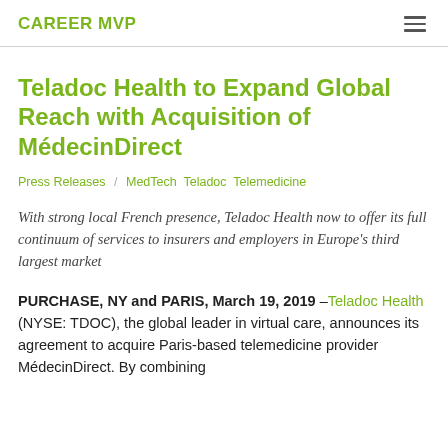CAREER MVP
Teladoc Health to Expand Global Reach with Acquisition of MédecinDirect
Press Releases / MedTech  Teladoc  Telemedicine
With strong local French presence, Teladoc Health now to offer its full continuum of services to insurers and employers in Europe's third largest market
PURCHASE, NY and PARIS, March 19, 2019 –Teladoc Health (NYSE: TDOC), the global leader in virtual care, announces its agreement to acquire Paris-based telemedicine provider MédecinDirect. By combining